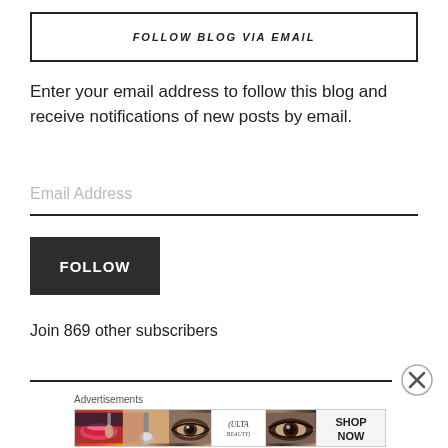FOLLOW BLOG VIA EMAIL
Enter your email address to follow this blog and receive notifications of new posts by email.
Email Address
FOLLOW
Join 869 other subscribers
[Figure (screenshot): Advertisement banner showing Ulta Beauty cosmetics ad with images of lips, makeup brush, eye with makeup, Ulta logo, and text SHOP NOW]